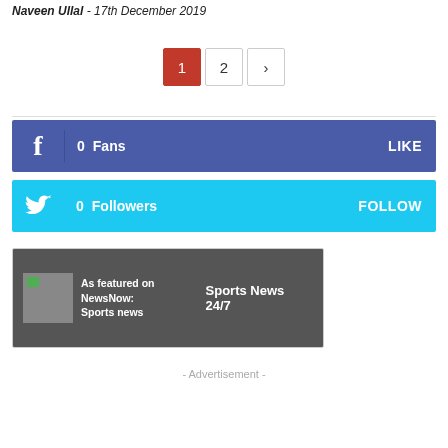Naveen Ullal - 17th December 2019
Pagination: 1 2 >
[Figure (infographic): Facebook social bar: 0 Fans, LIKE button]
[Figure (infographic): Twitter social bar: 0 Followers, FOLLOW button]
[Figure (infographic): As featured on NewsNow: Sports news - Sports News 24/7]
- Advertisement -